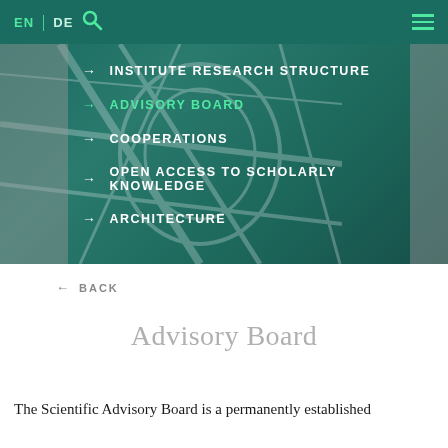EN | DE [search] [menu]
[Figure (screenshot): Navigation overlay on aerial map image with teal background showing menu items: INSTITUTE RESEARCH STRUCTURE, ADVISORY BOARD (active/highlighted), COOPERATIONS, OPEN ACCESS TO SCHOLARLY KNOWLEDGE, ARCHITECTURE. Left and right grey sidebars flank the menu.]
→ INSTITUTE RESEARCH STRUCTURE
→ ADVISORY BOARD
→ COOPERATIONS
→ OPEN ACCESS TO SCHOLARLY KNOWLEDGE
→ ARCHITECTURE
← BACK
Advisory Board
The Scientific Advisory Board is a permanently established